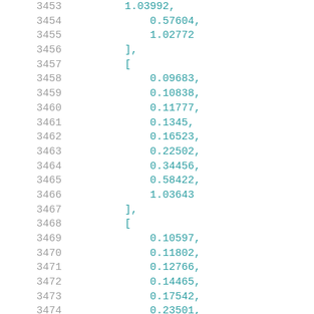Code listing lines 3453-3474 showing numerical array data
3453: (partial line top)
3454:     0.57604,
3455:     1.02772
3456: ],
3457: [
3458:     0.09683,
3459:     0.10838,
3460:     0.11777,
3461:     0.1345,
3462:     0.16523,
3463:     0.22502,
3464:     0.34456,
3465:     0.58422,
3466:     1.03643
3467: ],
3468: [
3469:     0.10597,
3470:     0.11802,
3471:     0.12766,
3472:     0.14465,
3473:     0.17542,
3474:     0.23501,